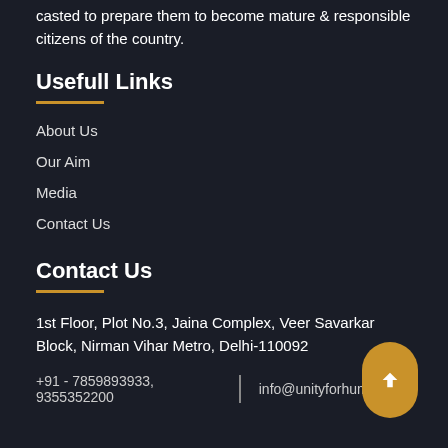casted to prepare them to become mature & responsible citizens of the country.
Usefull Links
About Us
Our Aim
Media
Contact Us
Contact Us
1st Floor, Plot No.3, Jaina Complex, Veer Savarkar Block, Nirman Vihar Metro, Delhi-110092
+91 - 7859893933, 9355352200 | info@unityforhumanity.in